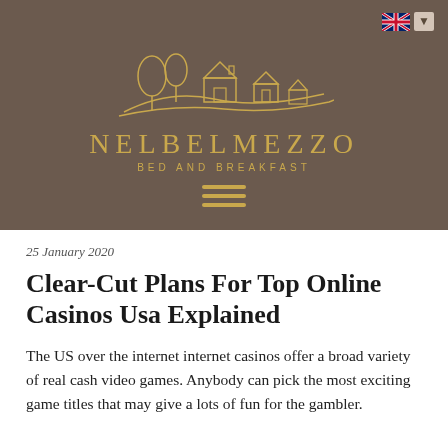[Figure (logo): Nelbelmezzo Bed and Breakfast logo with gold line-art illustration of countryside scene with trees and buildings, brand name NELBELMEZZO and tagline BED AND BREAKFAST in gold on brown background. UK flag language selector in top right corner. Hamburger menu icon below logo.]
25 January 2020
Clear-Cut Plans For Top Online Casinos Usa Explained
The US over the internet internet casinos offer a broad variety of real cash video games. Anybody can pick the most exciting game titles that may give a lots of fun for the gambler.